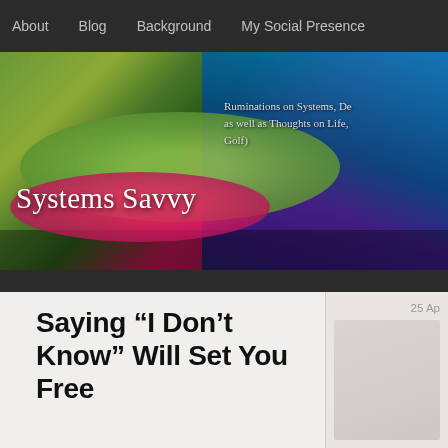About   Blog   Background   My Social Presence
[Figure (photo): Hero banner image of colorful inflatable pool toys including a green frog, with text overlay reading 'Systems Savvy' and subtitle 'Ruminations on Systems, De... as well as Thoughts on Life, Golf)']
Saying “I Don’t Know” Will Set You Free
By Rick Ladd
If you've ever been in sales, I'm willing to bet you know it's never a good idea to pretend you know something you don't. Unless you're making an opp...